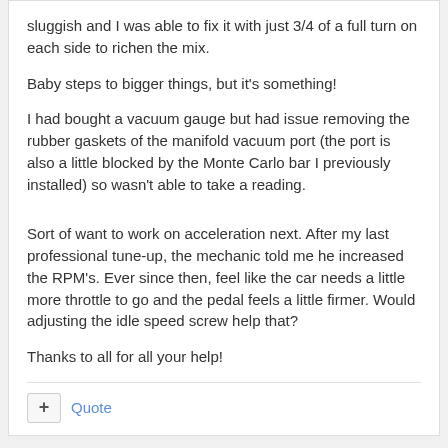sluggish and I was able to fix it with just 3/4 of a full turn on each side to richen the mix.
Baby steps to bigger things, but it's something!
I had bought a vacuum gauge but had issue removing the rubber gaskets of the manifold vacuum port (the port is also a little blocked by the Monte Carlo bar I previously installed) so wasn't able to take a reading.
Sort of want to work on acceleration next. After my last professional tune-up, the mechanic told me he increased the RPM's. Ever since then, feel like the car needs a little more throttle to go and the pedal feels a little firmer. Would adjusting the idle speed screw help that?
Thanks to all for all your help!
Brian Conway   +235   Posted July 28